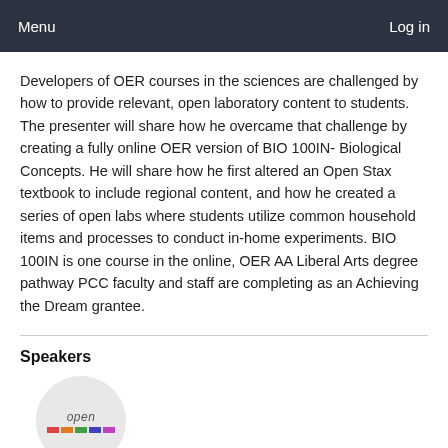Menu    Log in
Developers of OER courses in the sciences are challenged by how to provide relevant, open laboratory content to students. The presenter will share how he overcame that challenge by creating a fully online OER version of BIO 100IN- Biological Concepts. He will share how he first altered an Open Stax textbook to include regional content, and how he created a series of open labs where students utilize common household items and processes to conduct in-home experiments. BIO 100IN is one course in the online, OER AA Liberal Arts degree pathway PCC faculty and staff are completing as an Achieving the Dream grantee.
Speakers
[Figure (logo): Circular avatar/logo with 'open' text and colorful bar segments]